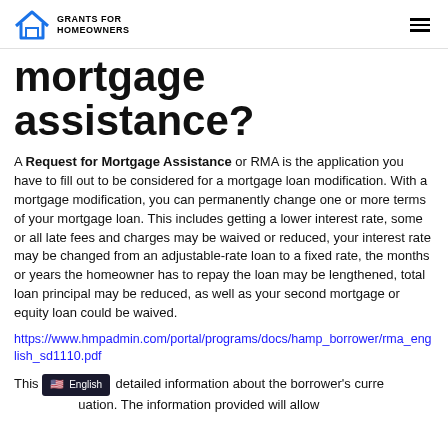GRANTS FOR HOMEOWNERS
mortgage assistance?
A Request for Mortgage Assistance or RMA is the application you have to fill out to be considered for a mortgage loan modification. With a mortgage modification, you can permanently change one or more terms of your mortgage loan. This includes getting a lower interest rate, some or all late fees and charges may be waived or reduced, your interest rate may be changed from an adjustable-rate loan to a fixed rate, the months or years the homeowner has to repay the loan may be lengthened, total loan principal may be reduced, as well as your second mortgage or equity loan could be waived.
https://www.hmpadmin.com/portal/programs/docs/hamp_borrower/rma_english_sd1110.pdf
This form provides detailed information about the borrower's current financial situation. The information provided will allow